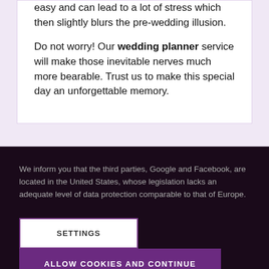easy and can lead to a lot of stress which then slightly blurs the pre-wedding illusion.

Do not worry! Our wedding planner service will make those inevitable nerves much more bearable. Trust us to make this special day an unforgettable memory.
We inform you that the third parties, Google and Facebook, are located in the United States, whose legislation lacks an adequate level of data protection comparable to that of Europe.
SETTINGS
ALLOW COOKIES AND CONTINUE